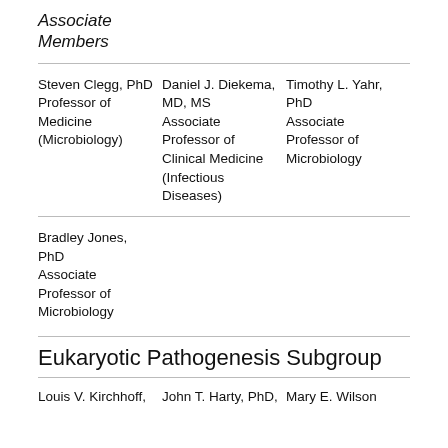Associate Members
Steven Clegg, PhD Professor of Medicine (Microbiology) | Daniel J. Diekema, MD, MS Associate Professor of Clinical Medicine (Infectious Diseases) | Timothy L. Yahr, PhD Associate Professor of Microbiology
Bradley Jones, PhD Associate Professor of Microbiology
Eukaryotic Pathogenesis Subgroup
Louis V. Kirchhoff, | John T. Harty, PhD, | Mary E. Wilson